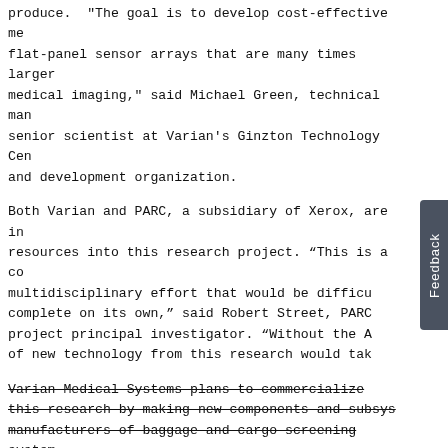produce. "The goal is to develop cost-effective me flat-panel sensor arrays that are many times larger medical imaging," said Michael Green, technical man senior scientist at Varian's Ginzton Technology Cen and development organization.
Both Varian and PARC, a subsidiary of Xerox, are in resources into this research project. “This is a co multidisciplinary effort that would be difficu complete on its own," said Robert Street, PARC project principal investigator. “Without the A of new technology from this research would tak
Varian Medical Systems plans to commercialize this research by making new components and subsy manufacturers of baggage and cargo screening system
[Figure (other): Cookie consent overlay with title 'Some functionality on this site requires your consent for cookies to work properly.' and two buttons: 'I consent to cookies' and 'I want more information'. A 'Feedback' tab is visible on the right side.]
Varian Medical Systems, Varian, and Linatron are re Varian Medical Systems, Inc.  PARC and the Palo Alt trademarks of Palo Alto Research Center, Incorporat